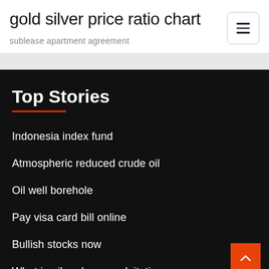gold silver price ratio chart
sublease apartment agreement
Top Stories
Indonesia index fund
Atmospheric reduced crude oil
Oil well borehole
Pay visa card bill online
Bullish stocks now
What is oil and gas exploitation